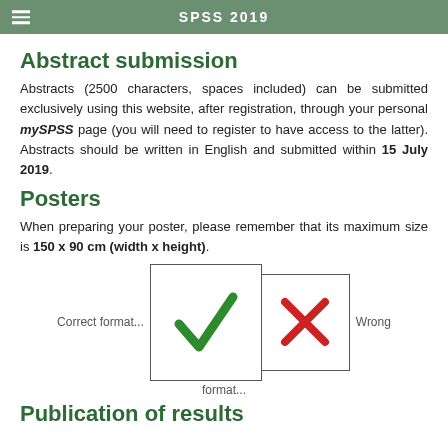SPSS 2019
Abstract submission
Abstracts (2500 characters, spaces included) can be submitted exclusively using this website, after registration, through your personal mySPSS page (you will need to register to have access to the latter). Abstracts should be written in English and submitted within 15 July 2019.
Posters
When preparing your poster, please remember that its maximum size is 150 x 90 cm (width x height).
[Figure (illustration): Two boxes side by side illustrating correct vs wrong poster format. Left box (taller, portrait-ish) contains a green checkmark with label 'Correct format...' to its left. Right box (shorter, landscape-ish) contains a red X mark with label 'Wrong' to its right. Caption 'format...' appears below the boxes.]
Publication of results